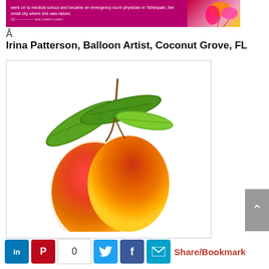[Figure (screenshot): Top banner with pink/magenta background containing small text about medical school and a physician in Tahlequah, with a floral/balloon image on the right side]
Â
Irina Patterson, Balloon Artist, Coconut Grove, FL
[Figure (illustration): Botanical illustration of two mangoes with green leaves on a white background]
Share/Bookmark — social sharing buttons: LinkedIn, Pinterest, count 0, Twitter, Facebook, Email